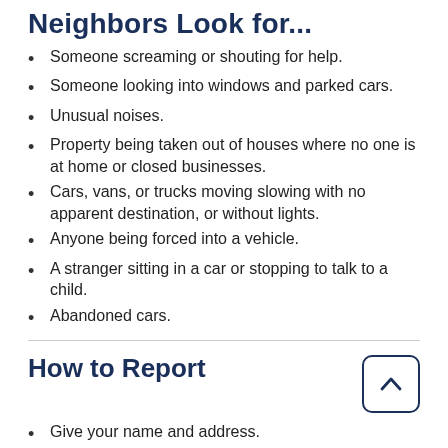Neighbors Look for...
Someone screaming or shouting for help.
Someone looking into windows and parked cars.
Unusual noises.
Property being taken out of houses where no one is at home or closed businesses.
Cars, vans, or trucks moving slowing with no apparent destination, or without lights.
Anyone being forced into a vehicle.
A stranger sitting in a car or stopping to talk to a child.
Abandoned cars.
How to Report
Give your name and address.